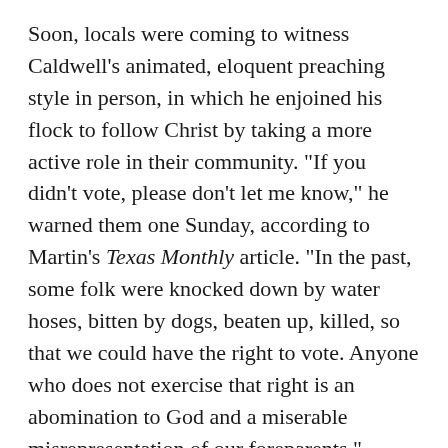Soon, locals were coming to witness Caldwell's animated, eloquent preaching style in person, in which he enjoined his flock to follow Christ by taking a more active role in their community. "If you didn't vote, please don't let me know," he warned them one Sunday, according to Martin's Texas Monthly article. "In the past, some folk were knocked down by water hoses, bitten by dogs, beaten up, killed, so that we could have the right to vote. Anyone who does not exercise that right is an abomination to God and a miserable misrepresentation of our foreparents."